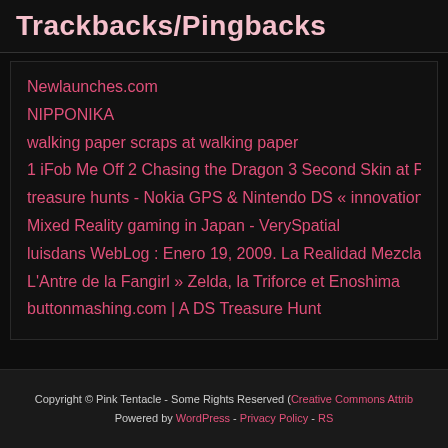Trackbacks/Pingbacks
Newlaunches.com
NIPPONIKA
walking paper scraps at walking paper
1 iFob Me Off 2 Chasing the Dragon 3 Second Skin at PERSO…
treasure hunts - Nokia GPS & Nintendo DS « innovation inspir…
Mixed Reality gaming in Japan - VerySpatial
luisdans WebLog : Enero 19, 2009. La Realidad Mezclada: ¿E…
L'Antre de la Fangirl » Zelda, la Triforce et Enoshima
buttonmashing.com | A DS Treasure Hunt
Copyright © Pink Tentacle - Some Rights Reserved (Creative Commons Attrib… Powered by WordPress - Privacy Policy - RS…